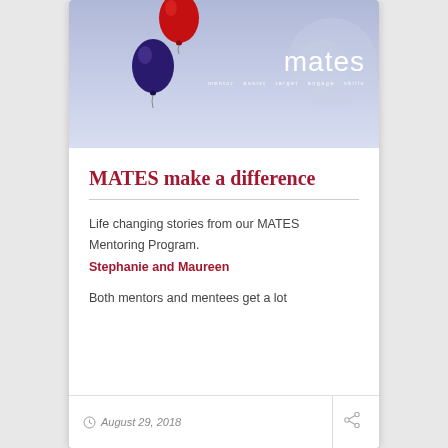[Figure (illustration): Header image with blue/purple gradient background, red and dark balloon on left, decorative circles on right, and 'mates' logo text with tagline 'mentor assist target engage skills' in white on right side.]
MATES make a difference
Life changing stories from our MATES Mentoring Program.
Stephanie and Maureen
Both mentors and mentees get a lot
August 29, 2018